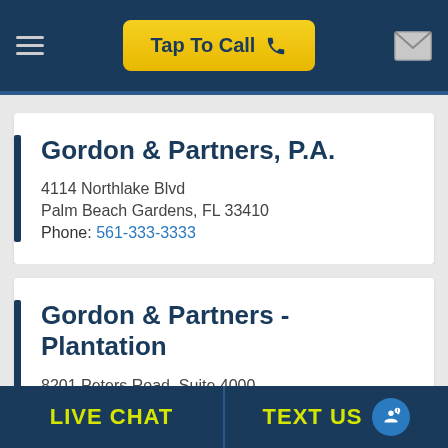Tap To Call
Gordon & Partners, P.A.
4114 Northlake Blvd
Palm Beach Gardens, FL 33410
Phone: 561-333-3333
Gordon & Partners - Plantation
8201 Peters Road, Suite 4000
Plantation, Florida 33324
LIVE CHAT    TEXT US